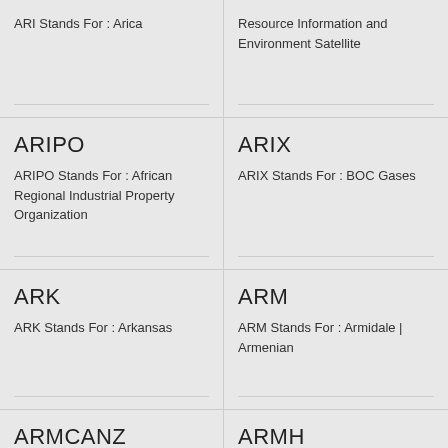ARI Stands For : Arica
Resource Information and Environment Satellite
ARIPO
ARIPO Stands For : African Regional Industrial Property Organization
ARIX
ARIX Stands For : BOC Gases
ARK
ARK Stands For : Arkansas
ARM
ARM Stands For : Armidale | Armenian
ARMCANZ
ARMH